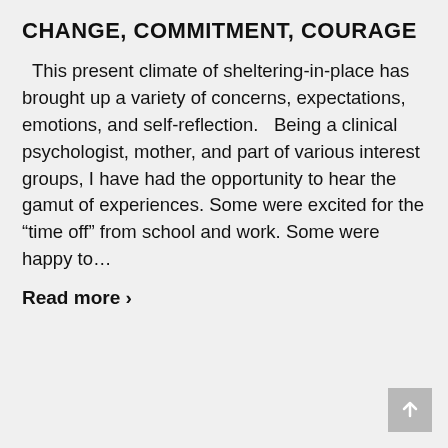CHANGE, COMMITMENT, COURAGE
This present climate of sheltering-in-place has brought up a variety of concerns, expectations, emotions, and self-reflection.   Being a clinical psychologist, mother, and part of various interest groups, I have had the opportunity to hear the gamut of experiences. Some were excited for the “time off” from school and work. Some were happy to…
Read more ▸